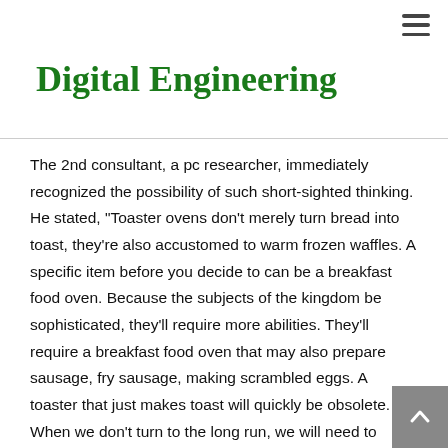≡
Digital Engineering
The 2nd consultant, a pc researcher, immediately recognized the possibility of such short-sighted thinking. He stated, "Toaster ovens don't merely turn bread into toast, they're also accustomed to warm frozen waffles. A specific item before you decide to can be a breakfast food oven. Because the subjects of the kingdom be sophisticated, they'll require more abilities. They'll require a breakfast food oven that may also prepare sausage, fry sausage, making scrambled eggs. A toaster that just makes toast will quickly be obsolete. When we don't turn to the long run, we will need to completely